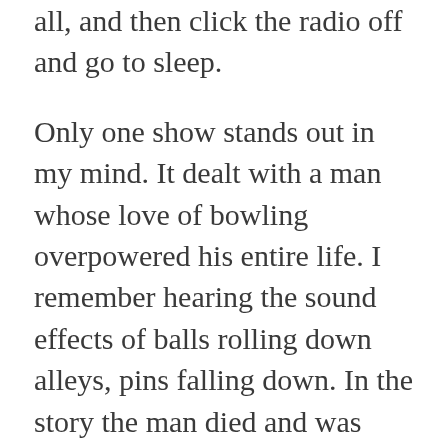all, and then click the radio off and go to sleep.
Only one show stands out in my mind. It dealt with a man whose love of bowling overpowered his entire life. I remember hearing the sound effects of balls rolling down alleys, pins falling down. In the story the man died and was rewarded by being able to spend eternity in a bowling alley, indulging in his passion.
The story, which I now know is called The Forever Alley, struck a deep chord in my heart. Like most of our species, I've been preoccupied with mortality for my entire